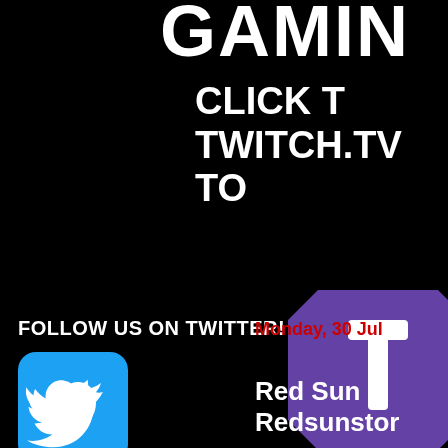GAMIN
CLICK T
TWITCH.TV
TO
[Figure (logo): Twitch.tv purple logo icon (partially visible on right edge)]
FOLLOW US ON TWITTER!
[Figure (logo): Twitter bird logo on blue rounded rectangle background]
Monday, 30 Jul
Red Sun G
Redsunstor